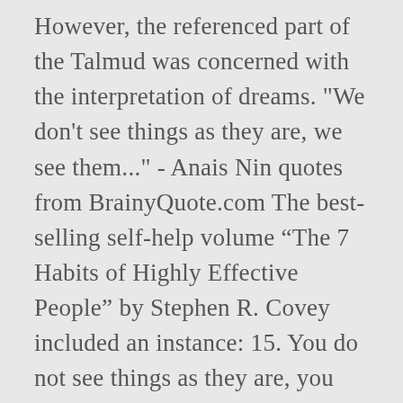However, the referenced part of the Talmud was concerned with the interpretation of dreams. "We don't see things as they are, we see them..." - Anais Nin quotes from BrainyQuote.com The best-selling self-help volume “The 7 Habits of Highly Effective People” by Stephen R. Covey included an instance: 15. You do not see things as they are, you see them as you are. We see the world, not as it is, but as we are—or, as we are conditioned to see it. As a man thinketh in his heart, so is he. Which means we can also change the way we see it. The assignment to the Talmud does not have strong support. | Meaning, pronunciation, translations and